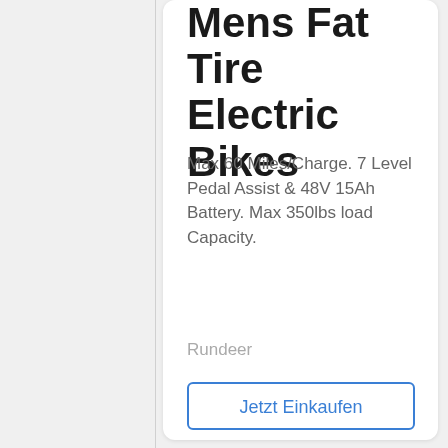Mens Fat Tire Electric Bikes
Max 60 Miles/Charge. 7 Level Pedal Assist & 48V 15Ah Battery. Max 350lbs load Capacity.
Rundeer
Jetzt Einkaufen